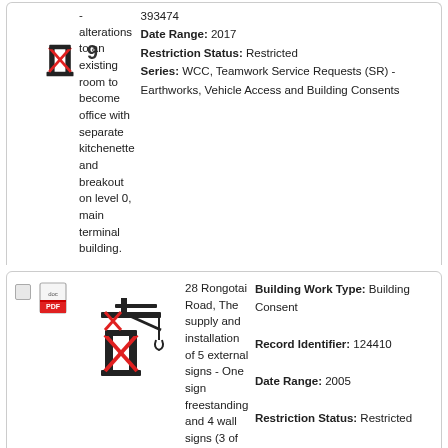- alterations to an existing room to become office with separate kitchenette and breakout on level 0, main terminal building.
Record Identifier: 393474
Date Range: 2017
Restriction Status: Restricted
Series: WCC, Teamwork Service Requests (SR) - Earthworks, Vehicle Access and Building Consents
28 Rongotai Road, The supply and installation of 5 external signs - One sign freestanding and 4 wall signs (3 of the wall signs are replacement signs) - Air New Zealand Cargo Depot - Wellington International Airport. With amendment.
Building Work Type: Building Consent
Record Identifier: 124410
Date Range: 2005
Restriction Status: Restricted
Series: WCC, Teamwork Service Requests (SR) - Earthworks, Vehicle Access and Building Consents
28 Stewart Duff Drive, Exemption
Building Work Type: Building Consent